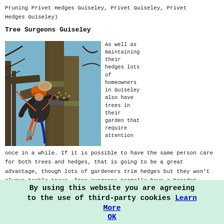Pruning Privet Hedges Guiseley, Privet Guiseley, Privet Hedges Guiseley)
Tree Surgeons Guiseley
[Figure (photo): A tree surgeon wearing an orange helmet and safety gear, cutting branches high up in a large tree with a chainsaw, sawdust flying.]
As well as maintaining their hedges lots of homeowners in Guiseley also have trees in their garden that require attention once in a while. If it is possible to have the same person care for both trees and hedges, that is going to be a great advantage, though lots of gardeners trim hedges but they won't always tackle trees. Tree surgeons normally have a broader understanding of all the tree and hedge species, so will know the best time and ways to look after them
By using this website you are agreeing to the use of third-party cookies Learn More OK